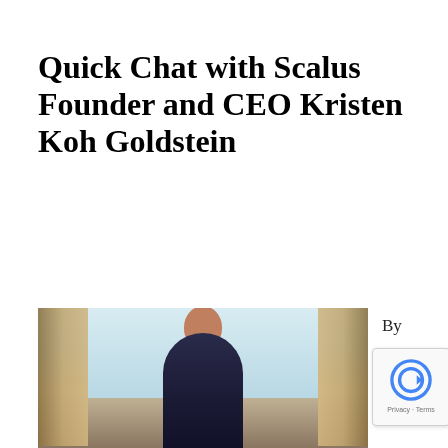Quick Chat with Scalus Founder and CEO Kristen Koh Goldstein
[Figure (photo): Photo of Kristen Koh Goldstein, a woman in a dark blazer, standing in front of large windows with gold/beige curtains in an elegant interior setting]
By